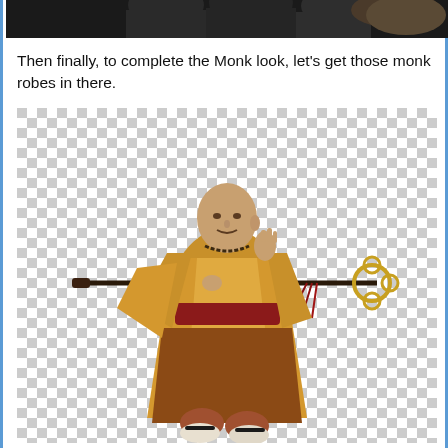[Figure (photo): Top portion of a photo showing dark silhouetted figures, cropped at the top of the page]
Then finally, to complete the Monk look, let's get those monk robes in there.
[Figure (illustration): A fantasy/RPG illustration of a bald monk character in golden-yellow robes with red sash, holding a long staff with an ornate golden end piece, standing in a fighting pose. The background is a transparent checkerboard pattern.]